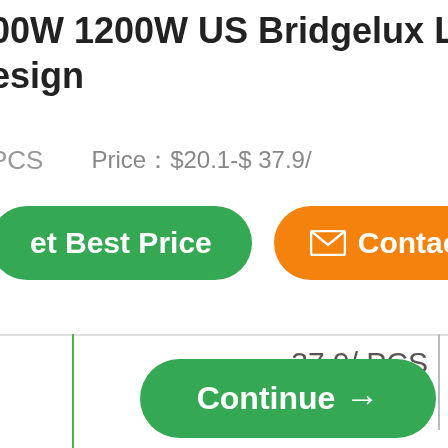00W 1200W US Bridgelux LED P eSign
PCS   Price：$20.1-$ 37.9/
et Best Price
Contac
37.9/ PCS
Continue →